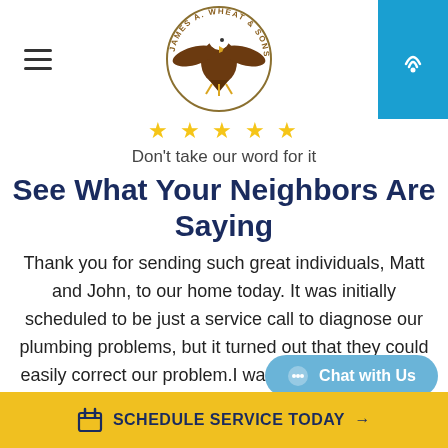James A. Wheat & Sons, Inc. — navigation header with logo and phone button
[Figure (logo): James A. Wheat & Sons, Inc. eagle logo with circular text badge]
★★★★★
Don't take our word for it
See What Your Neighbors Are Saying
Thank you for sending such great individuals, Matt and John, to our home today. It was initially scheduled to be just a service call to diagnose our plumbing problems, but it turned out that they could easily correct our problem.I want to tell you that the were the ultimate prof…
Chat with Us
SCHEDULE SERVICE TODAY →